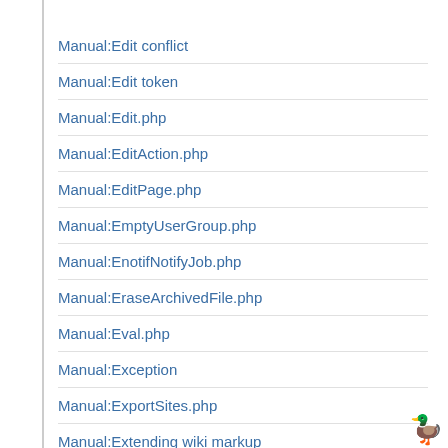Manual:Edit conflict
Manual:Edit token
Manual:Edit.php
Manual:EditAction.php
Manual:EditPage.php
Manual:EmptyUserGroup.php
Manual:EnotifNotifyJob.php
Manual:EraseArchivedFile.php
Manual:Eval.php
Manual:Exception
Manual:ExportSites.php
Manual:Extending wiki markup